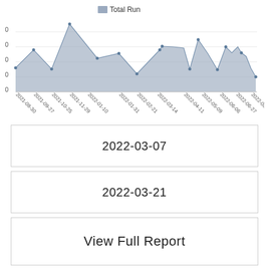[Figure (area-chart): Total Run]
2022-03-07
2022-03-21
View Full Report